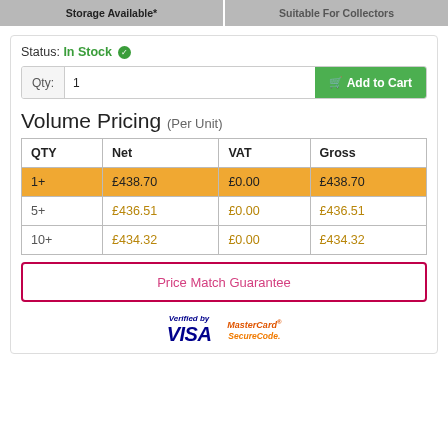Storage Available* | Suitable For Collectors
Status: In Stock
| QTY | Net | VAT | Gross |
| --- | --- | --- | --- |
| 1+ | £438.70 | £0.00 | £438.70 |
| 5+ | £436.51 | £0.00 | £436.51 |
| 10+ | £434.32 | £0.00 | £434.32 |
Volume Pricing (Per Unit)
Price Match Guarantee
[Figure (logo): Verified by Visa and MasterCard SecureCode payment logos]